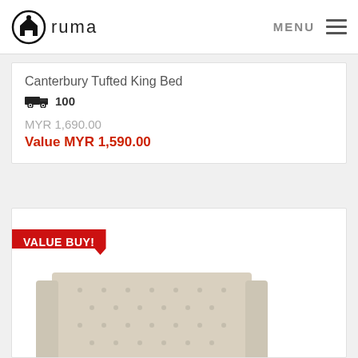ruma | MENU
Canterbury Tufted King Bed
100
MYR 1,690.00
Value MYR 1,590.00
VALUE BUY!
[Figure (photo): Canterbury Tufted King Bed — beige/cream upholstered wingback headboard with tufted diamond pattern, white mattress visible, bottom of bed frame]